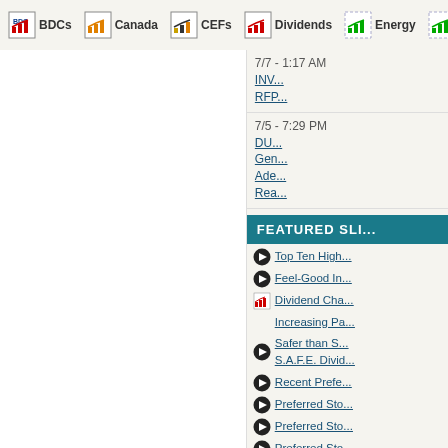BDCs | Canada | CEFs | Dividends | Energy
7/7 - 1:17 AM
INV... RFP...
7/5 - 7:29 PM
DU... Gen... Ade... Rea...
FEATURED SLI...
Top Ten High...
Feel-Good In...
Dividend Cha...
Increasing Pa...
Safer than S.... S.A.F.E. Divid...
Recent Prefe...
Preferred Sto...
Preferred Sto...
Preferred Sto...
Preferred Sto...
High Yield Pr...
Preferreds Tr...
Preferreds Tr...
The Top 10 D...
The Top 10 D...